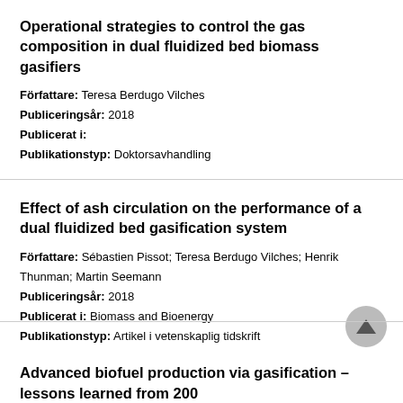Operational strategies to control the gas composition in dual fluidized bed biomass gasifiers
Författare: Teresa Berdugo Vilches
Publiceringsår: 2018
Publicerat i:
Publikationstyp: Doktorsavhandling
Effect of ash circulation on the performance of a dual fluidized bed gasification system
Författare: Sébastien Pissot; Teresa Berdugo Vilches; Henrik Thunman; Martin Seemann
Publiceringsår: 2018
Publicerat i: Biomass and Bioenergy
Publikationstyp: Artikel i vetenskaplig tidskrift
Advanced biofuel production via gasification – lessons learned from 200